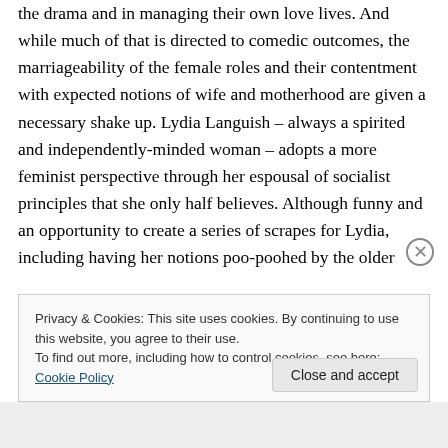the drama and in managing their own love lives. And while much of that is directed to comedic outcomes, the marriageability of the female roles and their contentment with expected notions of wife and motherhood are given a necessary shake up. Lydia Languish – always a spirited and independently-minded woman – adopts a more feminist perspective through her espousal of socialist principles that she only half believes. Although funny and an opportunity to create a series of scrapes for Lydia, including having her notions poo-poohed by the older
Privacy & Cookies: This site uses cookies. By continuing to use this website, you agree to their use.
To find out more, including how to control cookies, see here: Cookie Policy